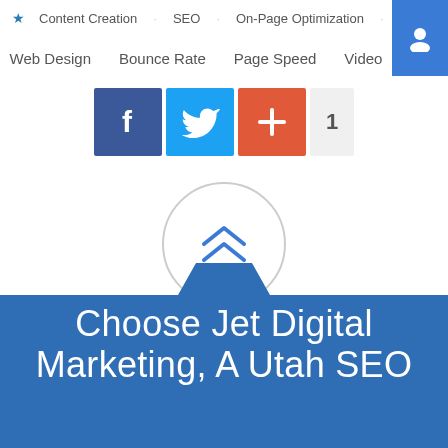Content Creation  SEO  On-Page Optimization  Link-Building  Web Design  Bounce Rate  Page Speed  Video
[Figure (infographic): Social share buttons: Facebook (blue), Twitter (light blue), plus/share (red-orange), and count badge showing '1']
[Figure (infographic): Circle button with double chevron up arrow (scroll to top button)]
Choose Jet Digital Marketing, A Utah SEO